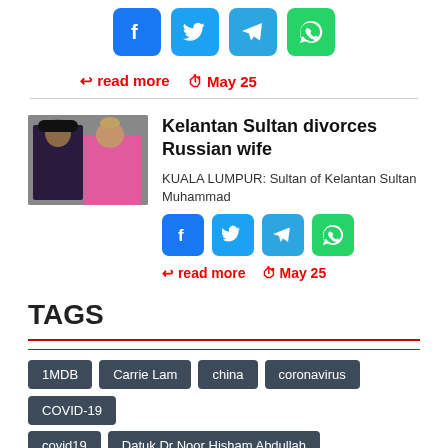[Figure (other): Social share icons: Facebook, Twitter, Telegram, WhatsApp]
read more   May 25
[Figure (photo): Thumbnail photo of Kelantan Sultan and Russian wife]
Kelantan Sultan divorces Russian wife
KUALA LUMPUR: Sultan of Kelantan Sultan Muhammad
[Figure (other): Social share icons: Facebook, Twitter, Telegram, WhatsApp]
read more   May 25
TAGS
1MDB
Carrie Lam
china
coronavirus
COVID-19
covid19
Datuk Dr Noor Hisham Abdullah
Datuk Seri Anwar Ibrahim
Datuk Seri Mohamed Azmin Ali